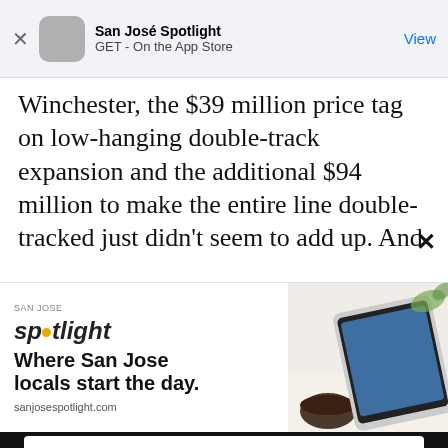San José Spotlight
GET - On the App Store
Winchester, the $39 million price tag on low-hanging double-track expansion and the additional $94 million to make the entire line double-tracked just didn't seem to add up. And
[Figure (screenshot): San José Spotlight advertisement banner showing logo, tagline 'Where San Jose locals start the day.' and sanjosespotlight.com URL, with tablet/coffee image on right]
EMAIL ADDRESS
SUBSCRIBE
Thanks, I'm not interested or already a subscriber